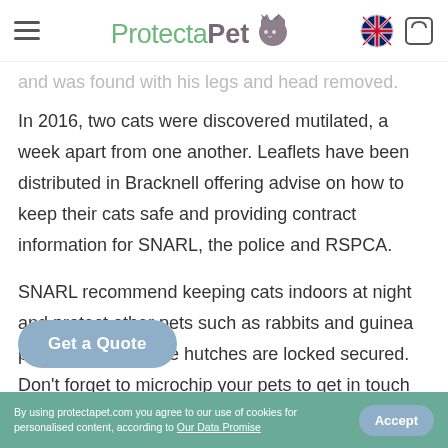ProtectaPet
and was found with his legs and head removed.
In 2016, two cats were discovered mutilated, a week apart from one another. Leaflets have been distributed in Bracknell offering advise on how to keep their cats safe and providing contract information for SNARL, the police and RSPCA.

SNARL recommend keeping cats indoors at night and protect other pets such as rabbits and guinea pigs by ensuring the hutches are locked secured. Don't forget to microchip your pets to get in touch with SNARL if you
By using protectapet.com you agree to our use of cookies for personalised content, according to Our Data Promise